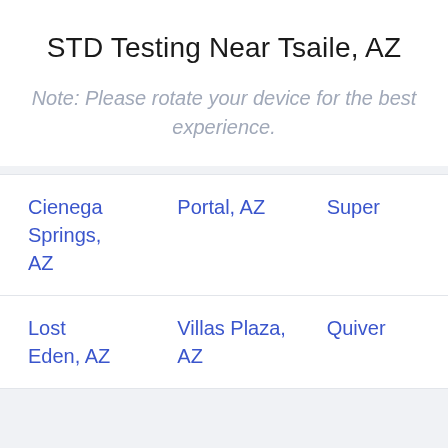STD Testing Near Tsaile, AZ
Note: Please rotate your device for the best experience.
| Cienega Springs, AZ | Portal, AZ | Super... |
| Lost Eden, AZ | Villas Plaza, AZ | Quiver... |